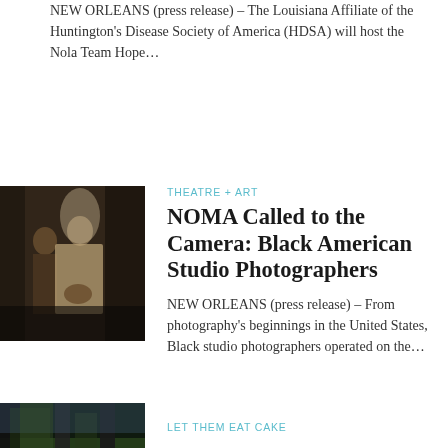NEW ORLEANS (press release) – The Louisiana Affiliate of the Huntington's Disease Society of America (HDSA) will host the Nola Team Hope…
[Figure (photo): Vintage sepia photograph showing a person in white wedding or ceremonial dress holding a bouquet]
THEATRE + ART
NOMA Called to the Camera: Black American Studio Photographers
NEW ORLEANS (press release) – From photography's beginnings in the United States, Black studio photographers operated on the…
[Figure (photo): Partial bottom photograph showing an outdoor scene]
LET THEM EAT CAKE